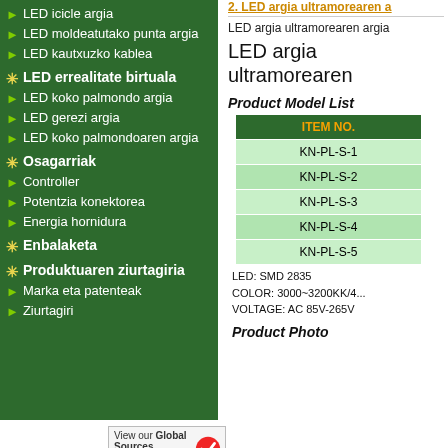LED icicle argia
LED moldeatutako punta argia
LED kautxuzko kablea
LED errealitate birtuala
LED koko palmondo argia
LED gerezi argia
LED koko palmondoaren argia
Osagarriak
Controller
Potentzia konektorea
Energia hornidura
Enbalaketa
Produktuaren ziurtagiria
Marka eta patenteak
Ziurtagiri
2. LED argia ultramorearen a...
LED argia ultramorearen argia
LED argia ultramorearen
Product Model List
| ITEM NO. |
| --- |
| KN-PL-S-1 |
| KN-PL-S-2 |
| KN-PL-S-3 |
| KN-PL-S-4 |
| KN-PL-S-5 |
LED: SMD 2835
COLOR: 3000~3200KK/4...
VOLTAGE: AC 85V-265V
Product Photo
[Figure (logo): Global Sources verified supplier website badge with checkmark]